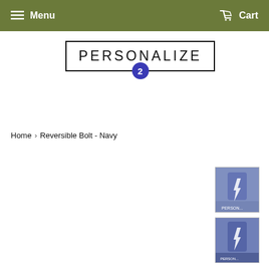Menu   Cart
[Figure (logo): Personalize 2 logo: text PERSONALIZE in a rectangle border with a blue circle containing the number 2 at the bottom center]
Home › Reversible Bolt - Navy
[Figure (photo): Child wearing a navy blue superhero cape with a lightning bolt design, viewed from behind, outdoors]
[Figure (photo): Child wearing a navy blue superhero cape with a lightning bolt design, viewed from behind, outdoors on pavement]